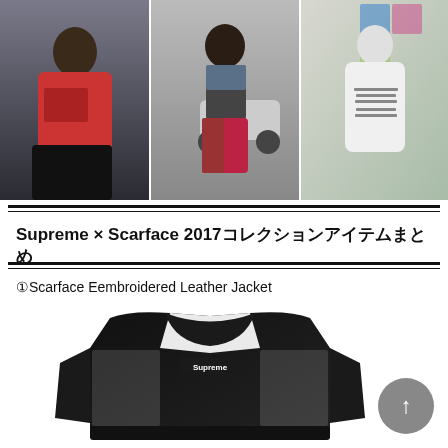[Figure (photo): Three fashion photos side by side: left shows person in red Supreme Scarface t-shirt seated; center shows person in dark t-shirt with red plaid pants standing outdoors; right shows back of white Supreme hoodie with text graphic.]
Supreme × Scarface 2017コレクションアイテムまとめ
①Scarface Eembroidered Leather Jacket
[Figure (photo): Supreme Scarface black and white leather varsity jacket with Supreme logo on chest.]